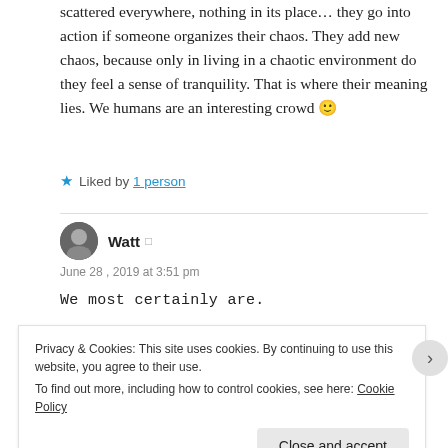scattered everywhere, nothing in its place… they go into action if someone organizes their chaos. They add new chaos, because only in living in a chaotic environment do they feel a sense of tranquility. That is where their meaning lies. We humans are an interesting crowd 🙂
★ Liked by 1 person
Watt
June 28, 2019 at 3:51 pm
We most certainly are.
Privacy & Cookies: This site uses cookies. By continuing to use this website, you agree to their use.
To find out more, including how to control cookies, see here: Cookie Policy
Close and accept